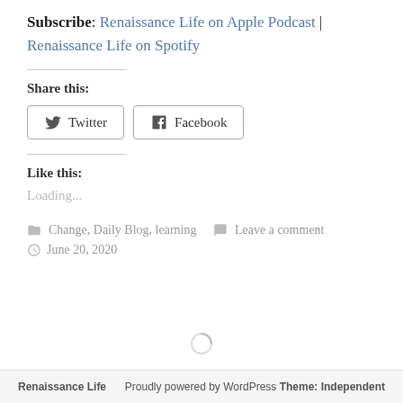Subscribe: Renaissance Life on Apple Podcast | Renaissance Life on Spotify
Share this:
Twitter | Facebook (social share buttons)
Like this:
Loading...
Change, Daily Blog, learning  Leave a comment
June 20, 2020
Renaissance Life    Proudly powered by WordPress Theme: Independent